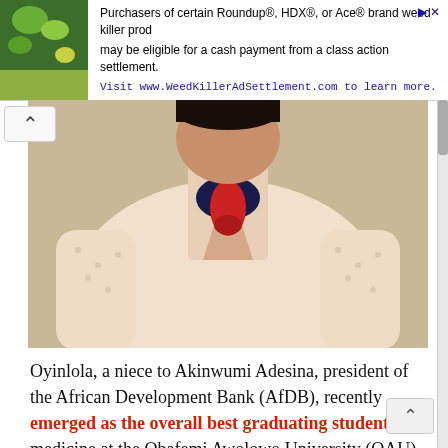[Figure (infographic): Advertisement banner: Purchasers of certain Roundup®, HDX®, or Ace® brand weed killer products may be eligible for a cash payment from a class action settlement. Visit www.WeedKillerAdSettlement.com to learn more.]
[Figure (photo): Photo of Oyinlola wearing a cream/white patterned lace jacket with a red and navy silk neck scarf tied at the collar.]
Oyinlola, a niece to Akinwumi Adesina, president of the African Development Bank (AfDB), recently emerged as the overall best graduating student in medicine at the Obafemi Awolowo University (OAU).
She had distinctions in surgery, community health, obstetrics and gynaecology; paediatrics and child health; dermatology, mental health, pharmacology, anatomy, biochemistry, and physiology.
Oyinlola also bagged nine other top awards, which in the Nigeria Medical Association (NMA) prize for which she